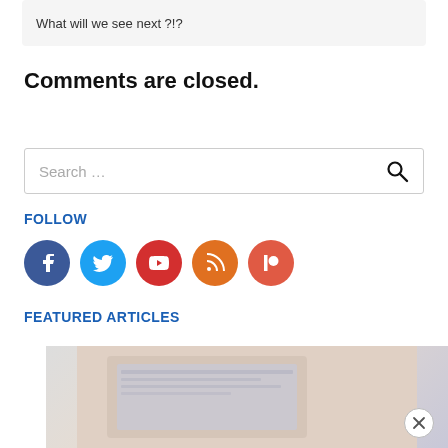What will we see next ?!?
Comments are closed.
Search …
FOLLOW
[Figure (illustration): Row of five circular social media icons: Facebook (dark blue), Twitter (light blue), YouTube (red), RSS (orange), Patreon (salmon/red-orange)]
FEATURED ARTICLES
[Figure (photo): Partial photo of a laptop or computer screen, partially visible at the bottom of the page]